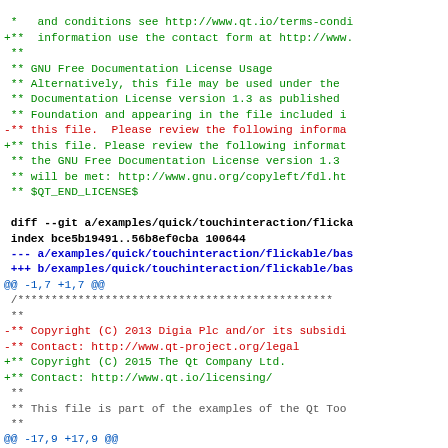diff --git a/examples/quick/touchinteraction/flickable/bas
index bce5b19491..56b8ef0cba 100644
--- a/examples/quick/touchinteraction/flickable/bas
+++ b/examples/quick/touchinteraction/flickable/bas
@@ -1,7 +1,7 @@
 /***********************************************
 **
 -** Copyright (C) 2013 Digia Plc and/or its subsidi
 -** Contact: http://www.qt-project.org/legal
 +** Copyright (C) 2015 The Qt Company Ltd.
 +** Contact: http://www.qt.io/licensing/
 **
 ** This file is part of the examples of the Qt Too
 **
 @@ -17,9 +17,9 @@
 ** notice, this list of conditions and the fol
 ** the documentation and/or other materials pr
 ** distribution.